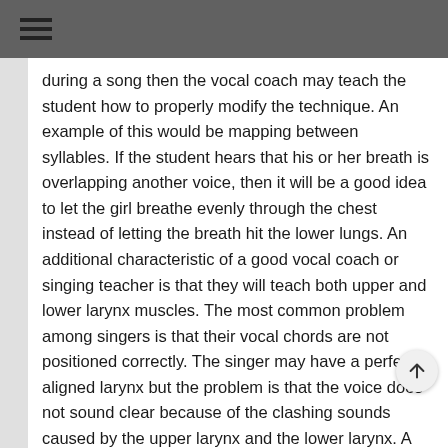≡
during a song then the vocal coach may teach the student how to properly modify the technique. An example of this would be mapping between syllables. If the student hears that his or her breath is overlapping another voice, then it will be a good idea to let the girl breathe evenly through the chest instead of letting the breath hit the lower lungs. An additional characteristic of a good vocal coach or singing teacher is that they will teach both upper and lower larynx muscles. The most common problem among singers is that their vocal chords are not positioned correctly. The singer may have a perfectly aligned larynx but the problem is that the voice does not sound clear because of the clashing sounds caused by the upper larynx and the lower larynx. A good vocal coach will help a singer